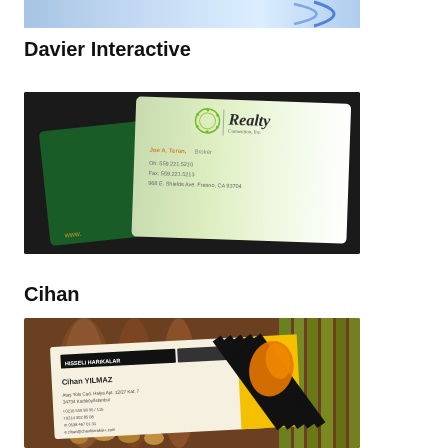[Figure (photo): Top cropped photo showing a business card with blue design elements on a light background]
Davier Interactive
[Figure (photo): Business card design for Realty Connection Inc. showing two cards - a dark green card at the back and a light green/white card in front with contact details for Joe A. Teran, Broker. Card shows phone 559.221.5210, fax 559.221.5213, address 968 E. Shields Ave. Fresno, CA 93704]
Cihan
[Figure (photo): Business card design for Cihan Yilmaz from Hisseli Harikalar showing a card with black header bar, contact details, and a yellow/black striped design element with an orange paint splash, held among wooden objects]